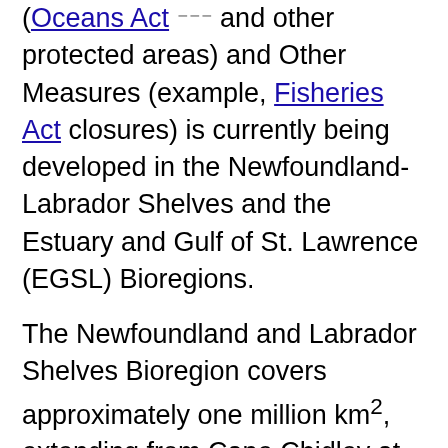(Oceans Act and other protected areas) and Other Measures (example, Fisheries Act closures) is currently being developed in the Newfoundland-Labrador Shelves and the Estuary and Gulf of St. Lawrence (EGSL) Bioregions.
The Newfoundland and Labrador Shelves Bioregion covers approximately one million km², extending from Cape Chidley at the northern tip of Labrador to the southern Grand Banks and the south coast of Newfoundland and Labrador. The EGSL Bioregion covers 231,193 km², bounded to the east by a jagged line that stretches